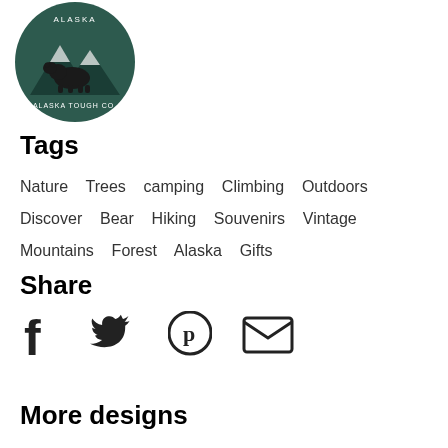[Figure (logo): Alaska Tough Co. circular logo with bear and mountains on dark green background]
Tags
Nature  Trees  camping  Climbing  Outdoors  Discover  Bear  Hiking  Souvenirs  Vintage  Mountains  Forest  Alaska  Gifts
Share
[Figure (infographic): Social share icons: Facebook, Twitter, Pinterest, Email]
More designs
[Figure (illustration): Two partial product design thumbnails at the bottom]